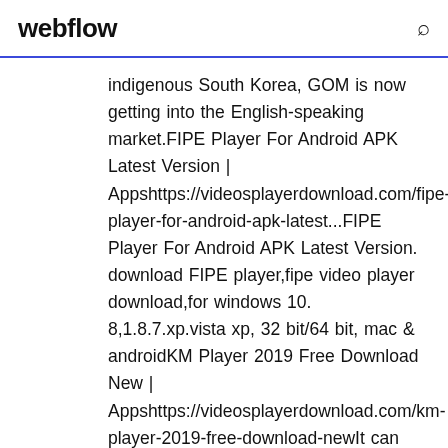webflow
indigenous South Korea, GOM is now getting into the English-speaking market.FIPE Player For Android APK Latest Version | Appshttps://videosplayerdownload.com/fipe-player-for-android-apk-latest...FIPE Player For Android APK Latest Version. download FIPE player,fipe video player download,for windows 10. 8,1.8.7.xp.vista xp, 32 bit/64 bit, mac & androidKM Player 2019 Free Download New | Appshttps://videosplayerdownload.com/km-player-2019-free-download-newIt can also be quite simple to customize.VoyForums: Beybladevoy.comIs brand new not much yet but it will be soon plez vist it. She says there is